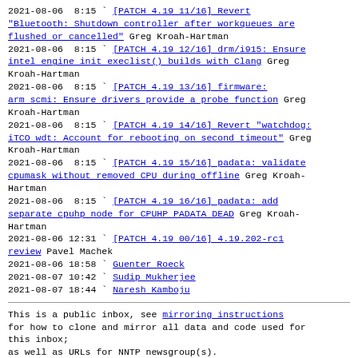2021-08-06  8:15 ` [PATCH 4.19 11/16] Revert "Bluetooth: Shutdown controller after workqueues are flushed or cancelled" Greg Kroah-Hartman
2021-08-06  8:15 ` [PATCH 4.19 12/16] drm/i915: Ensure intel engine init execlist() builds with Clang Greg Kroah-Hartman
2021-08-06  8:15 ` [PATCH 4.19 13/16] firmware: arm scmi: Ensure drivers provide a probe function Greg Kroah-Hartman
2021-08-06  8:15 ` [PATCH 4.19 14/16] Revert "watchdog: iTCO wdt: Account for rebooting on second timeout" Greg Kroah-Hartman
2021-08-06  8:15 ` [PATCH 4.19 15/16] padata: validate cpumask without removed CPU during offline Greg Kroah-Hartman
2021-08-06  8:15 ` [PATCH 4.19 16/16] padata: add separate cpuhp node for CPUHP PADATA DEAD Greg Kroah-Hartman
2021-08-06 12:31 ` [PATCH 4.19 00/16] 4.19.202-rc1 review Pavel Machek
2021-08-06 18:58 ` Guenter Roeck
2021-08-07 10:42 ` Sudip Mukherjee
2021-08-07 18:44 ` Naresh Kamboju
This is a public inbox, see mirroring instructions for how to clone and mirror all data and code used for this inbox; as well as URLs for NNTP newsgroup(s).